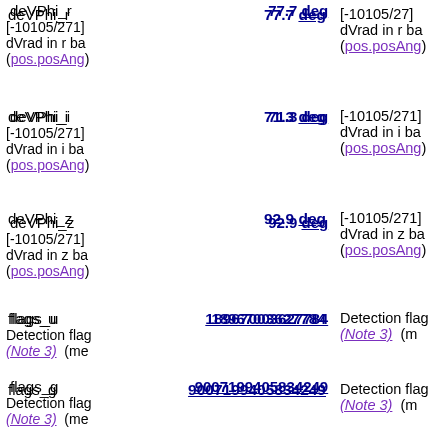| Name | Value | Description |
| --- | --- | --- |
| deVPhi_r | 77.7 deg | [-10105/271] dVrad in r band (pos.posAng) |
| deVPhi_i | 71.3 deg | [-10105/271] dVrad in i band (pos.posAng) |
| deVPhi_z | 92.9 deg | [-10105/271] dVrad in z band (pos.posAng) |
| flags_u | 18967003627784 | Detection flags (Note 3) (me... |
| flags_g | 9007199405834249 | Detection flags (Note 3) (me... |
| flags_r | 159482121 | Detection flags (Note 3) (me... |
| flags_i | 4503874924774664 | Detection flags (Note 3) (me... |
| flags_z | 151093769 | Detection flags (Note 3) (me... |
| type_u | 3 | [0/8] Phototype 3=galaxy) (ty... (src.class.sta... |
| type_g | 3 | [0/8] Phototype... |